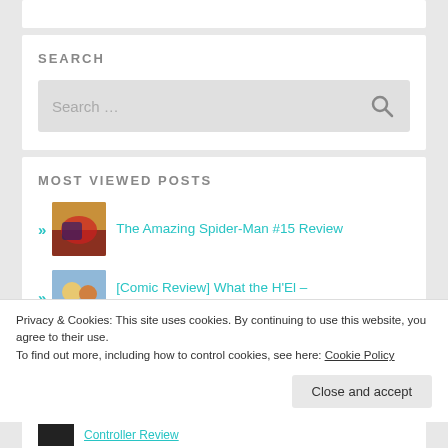SEARCH
[Figure (screenshot): Search input field with placeholder text 'Search ...' and a search icon on the right]
MOST VIEWED POSTS
The Amazing Spider-Man #15 Review
[Comic Review] What the H'El – Superman #14
Privacy & Cookies: This site uses cookies. By continuing to use this website, you agree to their use.
To find out more, including how to control cookies, see here: Cookie Policy
Close and accept